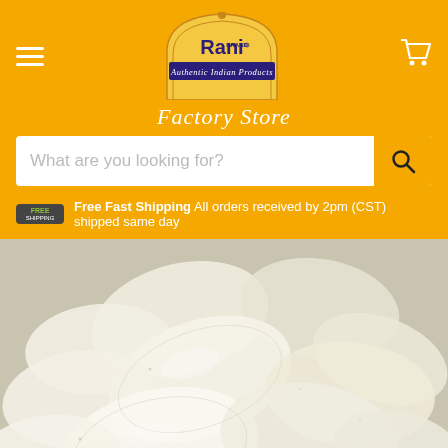[Figure (logo): Rani Brand logo with dome/arch shape, 'Authentic Indian Products' banner, orange background]
Factory Store
What are you looking for?
Free Fast Shipping All orders received by 2pm (CST) shipped same day
[Figure (photo): Close-up photo of white uncooked papad/poppadum crackers piled together on a green surface]